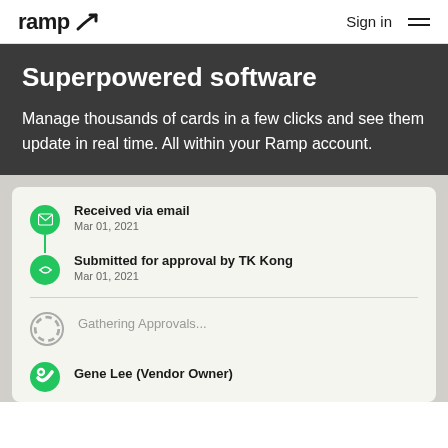ramp  Sign in
Superpowered software
Manage thousands of cards in a few clicks and see them update in real time. All within your Ramp account.
[Figure (screenshot): UI card showing a timeline/workflow with items: 'Received via email - Mar 01, 2021', 'Submitted for approval by TK Kong - Mar 01, 2021', 'Gathering Approvals...', 'Gene Lee (Vendor Owner)']